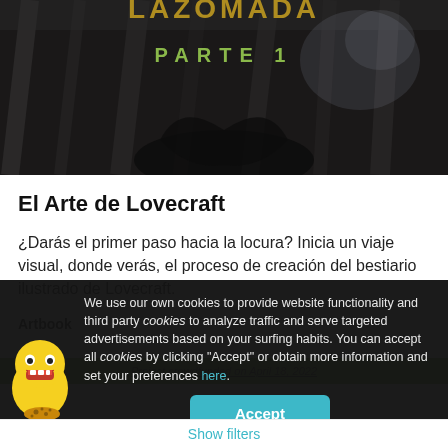[Figure (illustration): Dark fantasy book cover image showing rocky textures with 'PARTE 1' text in green, partially visible at top of page]
El Arte de Lovecraft
¿Darás el primer paso hacia la locura? Inicia un viaje visual, donde verás, el proceso de creación del bestiario ilustrado de Lovecraft.
Artbook
Project crowdfunded on April 18, 2022
We use our own cookies to provide website functionality and third party cookies to analyze traffic and serve targeted advertisements based on your surfing habits. You can accept all cookies by clicking "Accept" or obtain more information and set your preferences here.
Accept
Show filters